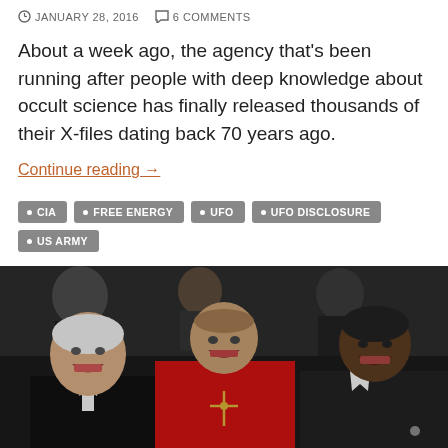JANUARY 28, 2016   6 COMMENTS
About a week ago, the agency that’s been running after people with deep knowledge about occult science has finally released thousands of their X-files dating back 70 years ago.
Continue reading →
CIA
FREE ENERGY
UFO
UFO DISCLOSURE
US ARMY
[Figure (photo): Black and white photo of three men laughing together at a formal event. An elderly man in a tuxedo with a white bow tie on the left, a man in red cardinal robes in the center, and a younger Black man in a suit on the right.]